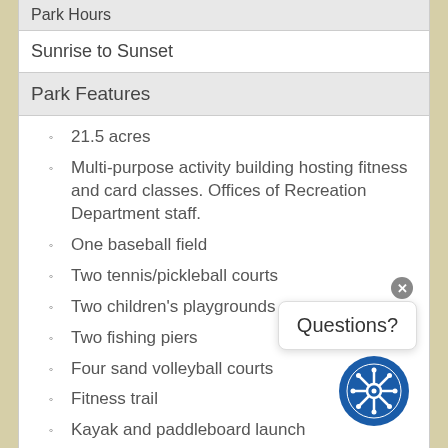Park Hours
Sunrise to Sunset
Park Features
21.5 acres
Multi-purpose activity building hosting fitness and card classes. Offices of Recreation Department staff.
One baseball field
Two tennis/pickleball courts
Two children's playgrounds
Two fishing piers
Four sand volleyball courts
Fitness trail
Kayak and paddleboard launch
Large breed and small breed dog parks
One large pavilion
Three small pavilions
Resident-only boat ramp, trailer parking, and